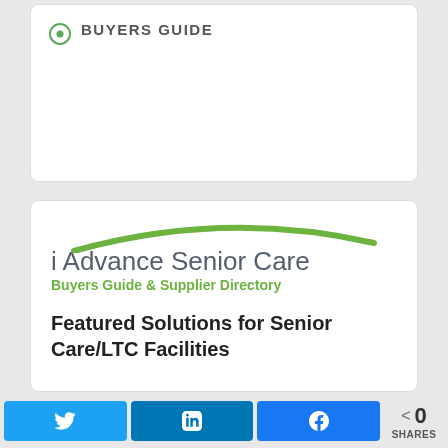BUYERS GUIDE
[Figure (logo): i Advance Senior Care Buyers Guide & Supplier Directory logo with green arc above grey text]
Featured Solutions for Senior Care/LTC Facilities
0 SHARES